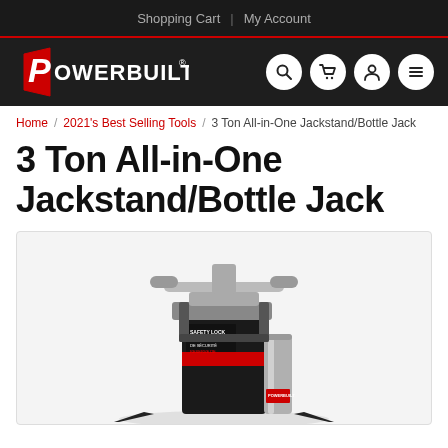Shopping Cart | My Account
[Figure (logo): Powerbuilt logo with search, cart, account, and menu icons on dark navigation bar]
Home / 2021's Best Selling Tools / 3 Ton All-in-One Jackstand/Bottle Jack
3 Ton All-in-One Jackstand/Bottle Jack
[Figure (photo): 3 Ton All-in-One Jackstand/Bottle Jack product photo showing a black and red hydraulic bottle jack with chrome cylinder and gray handle/saddle assembly, with SAFETY LOCK label visible]